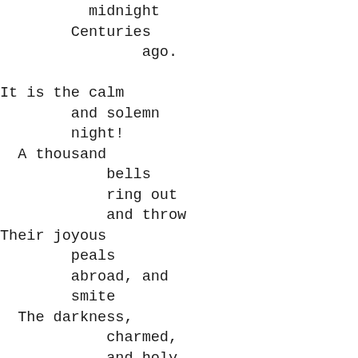midnight
        Centuries
                ago.

It is the calm
        and solemn
        night!
  A thousand
            bells
            ring out
            and throw
Their joyous
        peals
        abroad, and
        smite
  The darkness,
            charmed,
            and holy
            now!
The night that
        erst no
        name had
        worn,
  To it a happy
        name is